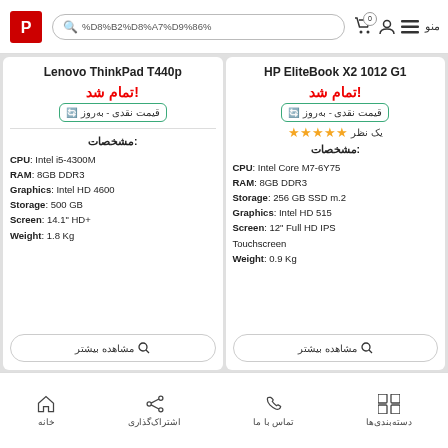منو | Search: %D8%B2%D8%A7%D9%86% | Logo
Lenovo ThinkPad T440p
تمام شد!
قیمت نقدی - به‌روز
مشخصات:
CPU: Intel i5-4300M
RAM: 8GB DDR3
Graphics: Intel HD 4600
Storage: 500 GB
Screen: 14.1" HD+
Weight: 1.8 Kg
مشاهده بیشتر
HP EliteBook X2 1012 G1
تمام شد!
قیمت نقدی - به‌روز
یک نظر ★★★★★
مشخصات:
CPU: Intel Core M7-6Y75
RAM: 8GB DDR3
Storage: 256 GB SSD m.2
Graphics: Intel HD 515
Screen: 12" Full HD IPS Touchscreen
Weight: 0.9 Kg
مشاهده بیشتر
دسته‌بندی‌ها | تماس با ما | اشتراک‌گذاری | خانه